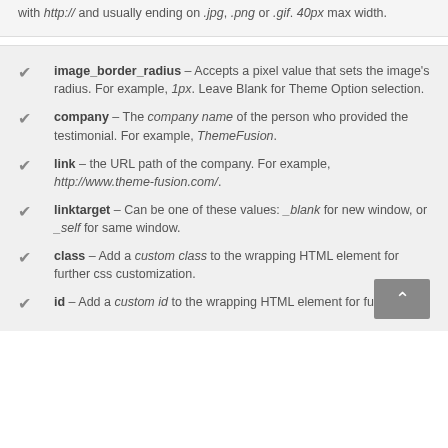with http:// and usually ending on .jpg, .png or .gif. 40px max width.
image_border_radius – Accepts a pixel value that sets the image's radius. For example, 1px. Leave Blank for Theme Option selection.
company – The company name of the person who provided the testimonial. For example, ThemeFusion.
link – the URL path of the company. For example, http://www.theme-fusion.com/.
linktarget – Can be one of these values: _blank for new window, or _self for same window.
class – Add a custom class to the wrapping HTML element for further css customization.
id – Add a custom id to the wrapping HTML element for further